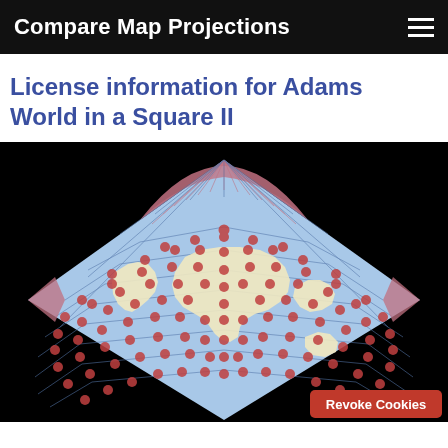Compare Map Projections
License information for Adams World in a Square II
[Figure (map): Adams World in a Square II map projection displayed on a black background. The projection shows the world map in a square/diamond shape. The upper portion features a fan-like pink/rose-colored sector at the top. The main map area is light blue with a grid of latitude/longitude lines and red dots at intersections. Landmasses are shown in pale yellow/cream. The corners of the map extend as pointed lobes, also in pink/rose color.]